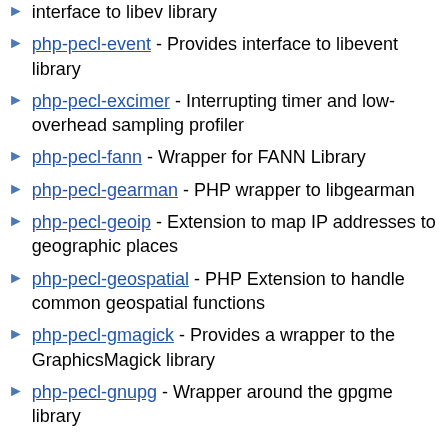interface to libev library
php-pecl-event - Provides interface to libevent library
php-pecl-excimer - Interrupting timer and low-overhead sampling profiler
php-pecl-fann - Wrapper for FANN Library
php-pecl-gearman - PHP wrapper to libgearman
php-pecl-geoip - Extension to map IP addresses to geographic places
php-pecl-geospatial - PHP Extension to handle common geospatial functions
php-pecl-gmagick - Provides a wrapper to the GraphicsMagick library
php-pecl-gnupg - Wrapper around the gpgme library